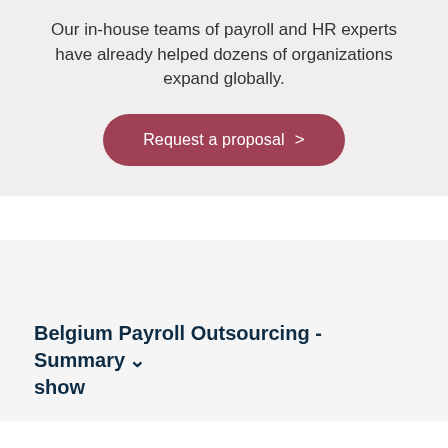Our in-house teams of payroll and HR experts have already helped dozens of organizations expand globally.
Request a proposal >
Belgium Payroll Outsourcing - Summary show